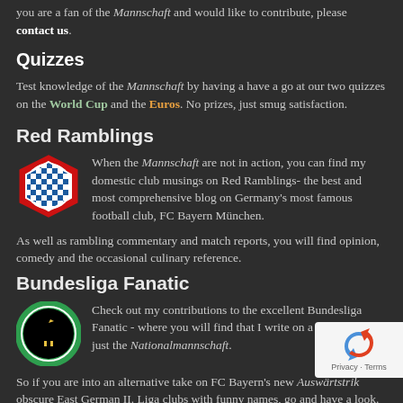you are a fan of the Mannschaft and would like to contribute, please contact us.
Quizzes
Test knowledge of the Mannschaft by having a have a go at our two quizzes on the World Cup and the Euros. No prizes, just smug satisfaction.
Red Ramblings
[Figure (logo): FC Bayern München hexagonal logo with red border and blue/white checkered pattern]
When the Mannschaft are not in action, you can find my domestic club musings on Red Ramblings- the best and most comprehensive blog on Germany's most famous football club, FC Bayern München.
As well as rambling commentary and match reports, you will find opinion, comedy and the occasional culinary reference.
Bundesliga Fanatic
[Figure (logo): Bundesliga Fanatic logo - black eagle on green circle]
Check out my contributions to the excellent Bundesliga Fanatic - where you will find that I write on a lot more than just the Nationalmannschaft.
So if you are into an alternative take on FC Bayern's new Auswärtstrikot obscure East German II. Liga clubs with funny names, go and have a look.